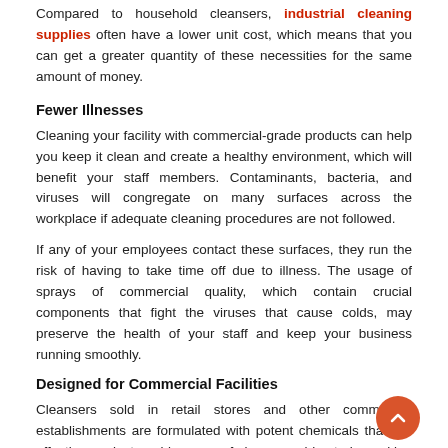Compared to household cleansers, industrial cleaning supplies often have a lower unit cost, which means that you can get a greater quantity of these necessities for the same amount of money.
Fewer Illnesses
Cleaning your facility with commercial-grade products can help you keep it clean and create a healthy environment, which will benefit your staff members. Contaminants, bacteria, and viruses will congregate on many surfaces across the workplace if adequate cleaning procedures are not followed.
If any of your employees contact these surfaces, they run the risk of having to take time off due to illness. The usage of sprays of commercial quality, which contain crucial components that fight the viruses that cause colds, may preserve the health of your staff and keep your business running smoothly.
Designed for Commercial Facilities
Cleansers sold in retail stores and other commercial establishments are formulated with potent chemicals that are effective against a wide range of viruses and bacteria, making them ideal for use in